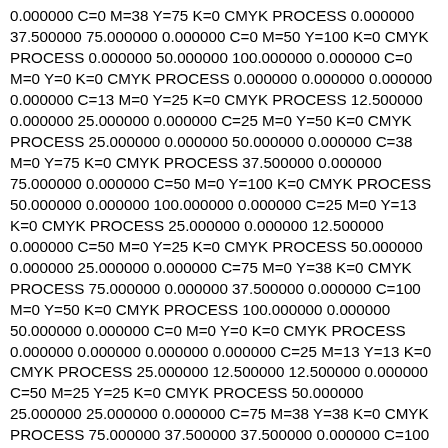0.000000 C=0 M=38 Y=75 K=0 CMYK PROCESS 0.000000 37.500000 75.000000 0.000000 C=0 M=50 Y=100 K=0 CMYK PROCESS 0.000000 50.000000 100.000000 0.000000 C=0 M=0 Y=0 K=0 CMYK PROCESS 0.000000 0.000000 0.000000 0.000000 C=13 M=0 Y=25 K=0 CMYK PROCESS 12.500000 0.000000 25.000000 0.000000 C=25 M=0 Y=50 K=0 CMYK PROCESS 25.000000 0.000000 50.000000 0.000000 C=38 M=0 Y=75 K=0 CMYK PROCESS 37.500000 0.000000 75.000000 0.000000 C=50 M=0 Y=100 K=0 CMYK PROCESS 50.000000 0.000000 100.000000 0.000000 C=25 M=0 Y=13 K=0 CMYK PROCESS 25.000000 0.000000 12.500000 0.000000 C=50 M=0 Y=25 K=0 CMYK PROCESS 50.000000 0.000000 25.000000 0.000000 C=75 M=0 Y=38 K=0 CMYK PROCESS 75.000000 0.000000 37.500000 0.000000 C=100 M=0 Y=50 K=0 CMYK PROCESS 100.000000 0.000000 50.000000 0.000000 C=0 M=0 Y=0 K=0 CMYK PROCESS 0.000000 0.000000 0.000000 0.000000 C=25 M=13 Y=13 K=0 CMYK PROCESS 25.000000 12.500000 12.500000 0.000000 C=50 M=25 Y=25 K=0 CMYK PROCESS 50.000000 25.000000 25.000000 0.000000 C=75 M=38 Y=38 K=0 CMYK PROCESS 75.000000 37.500000 37.500000 0.000000 C=100 M=50 Y=50 K=0 CMYK PROCESS 100.000000 50.000000 50.000000 0.000000 C=25 M=25 Y=13 K=0 CMYK PROCESS 25.000000 25.000000 12.500000 0.000000 C=50 M=50 Y=25 K=0 CMYK PROCESS 50.000000 50.000000 25.000000 0.000000 C=75 M=75 Y=38 K=0 CMYK